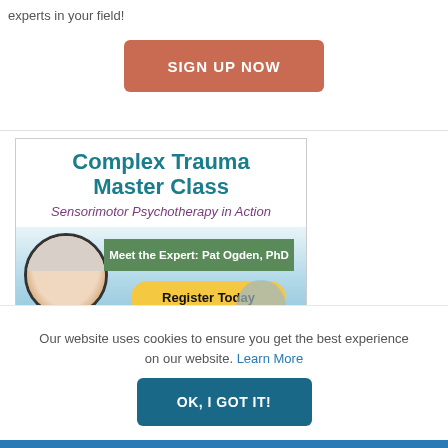experts in your field!
SIGN UP NOW
[Figure (illustration): Complex Trauma Master Class advertisement banner featuring Pat Ogden PhD. Teal bold title 'Complex Trauma Master Class', purple italic subtitle 'Sensorimotor Psychotherapy in Action', circular photo of a smiling older woman with white hair, green banner 'Meet the Expert: Pat Ogden, PhD', yellow pill button 'Register Today', sky background.]
Our website uses cookies to ensure you get the best experience on our website. Learn More
OK, I GOT IT!